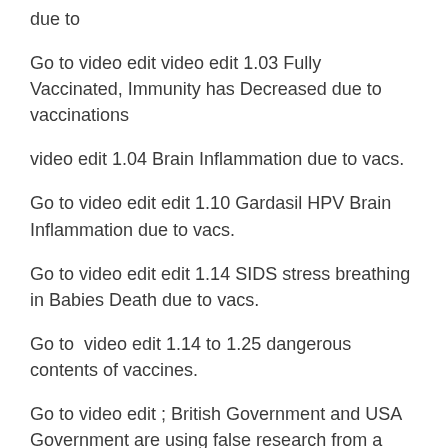due to
Go to video edit video edit 1.03 Fully Vaccinated, Immunity has Decreased due to vaccinations
video edit 1.04 Brain Inflammation due to vacs.
Go to video edit edit 1.10 Gardasil HPV Brain Inflammation due to vacs.
Go to video edit edit 1.14 SIDS stress breathing in Babies Death due to vacs.
Go to  video edit 1.14 to 1.25 dangerous contents of vaccines.
Go to video edit ; British Government and USA Government are using false research from a man who has been convicted for fraud of massive proportions of US